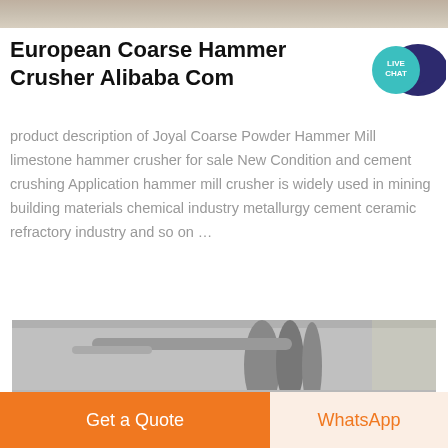[Figure (photo): Partial cropped photo at top of page showing outdoor scene with rocks/minerals]
European Coarse Hammer Crusher Alibaba Com
[Figure (illustration): Live Chat speech bubble widget in teal/blue colors with text LIVE CHAT]
product description of Joyal Coarse Powder Hammer Mill limestone hammer crusher for sale New Condition and cement crushing Application hammer mill crusher is widely used in mining building materials chemical industry metallurgy cement ceramic refractory industry and so on …
[Figure (photo): Black and white photo showing industrial ductwork/piping equipment]
Get a Quote
WhatsApp